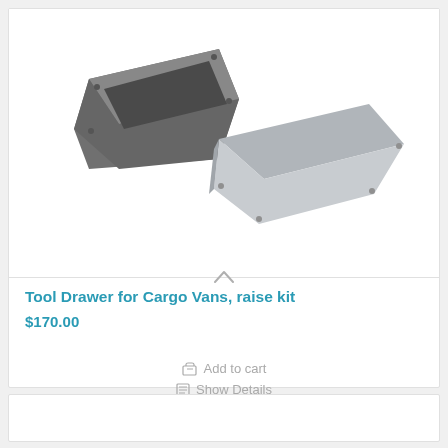[Figure (photo): Two gray metal tool drawer raise kit components — one shown from the front-left perspective (darker, upper-left) and one from a side perspective (lighter, right side).]
Tool Drawer for Cargo Vans, raise kit
$170.00
Add to cart
Show Details